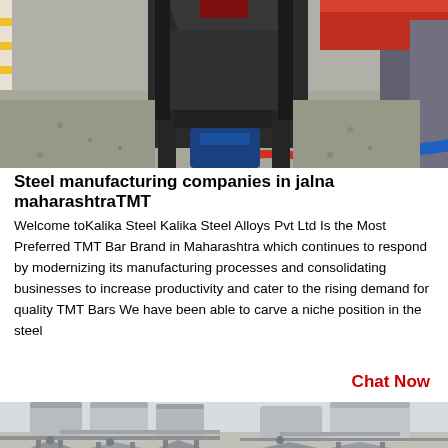[Figure (photo): Industrial steel manufacturing equipment - a large grey machine/crusher on a factory floor with gravel, yellow safety markings, red hose, and blue motor visible in the background.]
Steel manufacturing companies in jalna maharashtraTMT
Welcome toKalika Steel Kalika Steel Alloys Pvt Ltd Is the Most Preferred TMT Bar Brand in Maharashtra which continues to respond by modernizing its manufacturing processes and consolidating businesses to increase productivity and cater to the rising demand for quality TMT Bars We have been able to carve a niche position in the steel
Chat Now
[Figure (photo): Industrial cement or steel plant with large grey cylindrical silos, hopper structures, and pipes/conveyors on a facility floor.]